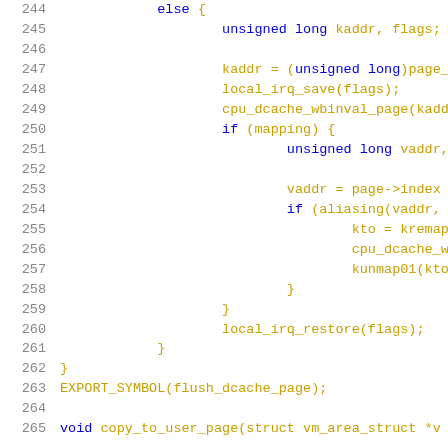Source code listing, lines 244–265, showing C kernel code for flush_dcache_page and copy_to_user_page functions.